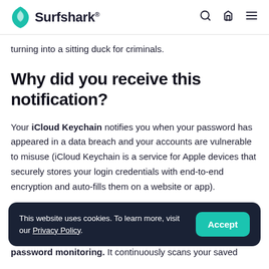Surfshark®
turning into a sitting duck for criminals.
Why did you receive this notification?
Your iCloud Keychain notifies you when your password has appeared in a data breach and your accounts are vulnerable to misuse (iCloud Keychain is a service for Apple devices that securely stores your login credentials with end-to-end encryption and auto-fills them on a website or app).
This website uses cookies. To learn more, visit our Privacy Policy.
password monitoring. It continuously scans your saved